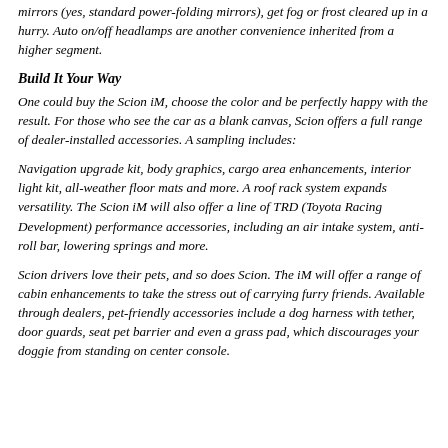mirrors (yes, standard power-folding mirrors), get fog or frost cleared up in a hurry. Auto on/off headlamps are another convenience inherited from a higher segment.
Build It Your Way
One could buy the Scion iM, choose the color and be perfectly happy with the result. For those who see the car as a blank canvas, Scion offers a full range of dealer-installed accessories. A sampling includes:
Navigation upgrade kit, body graphics, cargo area enhancements, interior light kit, all-weather floor mats and more. A roof rack system expands versatility. The Scion iM will also offer a line of TRD (Toyota Racing Development) performance accessories, including an air intake system, anti-roll bar, lowering springs and more.
Scion drivers love their pets, and so does Scion. The iM will offer a range of cabin enhancements to take the stress out of carrying furry friends. Available through dealers, pet-friendly accessories include a dog harness with tether, door guards, seat pet barrier and even a grass pad, which discourages your doggie from standing on center console.